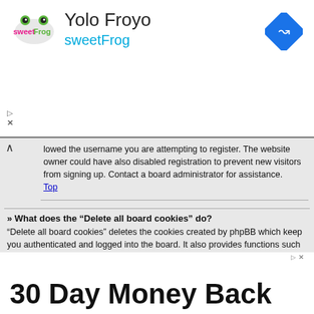[Figure (other): sweetFrog frozen yogurt advertisement banner with logo, 'Yolo Froyo' title, 'sweetFrog' subtitle in teal, and a blue navigation diamond icon]
lowed the username you are attempting to register. The website owner could have also disabled registration to prevent new visitors from signing up. Contact a board administrator for assistance.
Top
» What does the “Delete all board cookies” do?
“Delete all board cookies” deletes the cookies created by phpBB which keep you authenticated and logged into the board. It also provides functions such as read tracking if they have been enabled by the board owner. If you are having login or logout problems, deleting board cookies may help.
Top
[Figure (other): Advertisement banner showing '30 Day Money Back' text on white background]